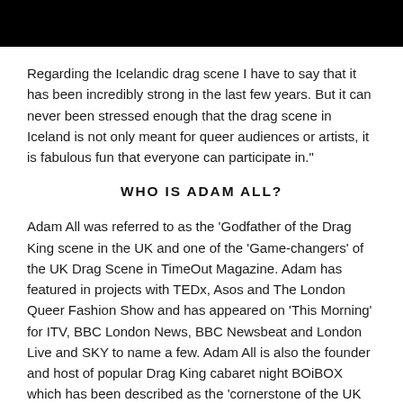Regarding the Icelandic drag scene I have to say that it has been incredibly strong in the last few years. But it can never been stressed enough that the drag scene in Iceland is not only meant for queer audiences or artists, it is fabulous fun that everyone can participate in."
WHO IS ADAM ALL?
Adam All was referred to as the 'Godfather of the Drag King scene in the UK and one of the 'Game-changers' of the UK Drag Scene in TimeOut Magazine. Adam has featured in projects with TEDx, Asos and The London Queer Fashion Show and has appeared on 'This Morning' for ITV, BBC London News, BBC Newsbeat and London Live and SKY to name a few. Adam All is also the founder and host of popular Drag King cabaret night BOiBOX which has been described as the 'cornerstone of the UK Drag King Scene, alongside his on and off-stage partner